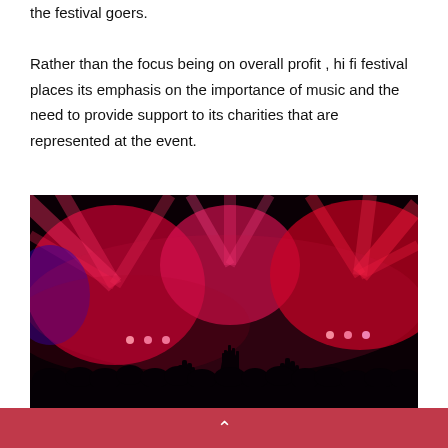the festival goers.

Rather than the focus being on overall profit , hi fi festival places its emphasis on the importance of music and the need to provide support to its charities that are represented at the event.
[Figure (photo): Concert crowd with hands raised in silhouette against vivid red and pink stage lighting with dramatic light rays spreading outward.]
^